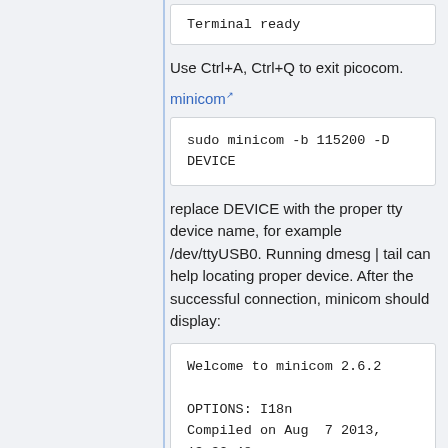[Figure (screenshot): Code block showing 'Terminal ready']
Use Ctrl+A, Ctrl+Q to exit picocom.
minicom (external link)
[Figure (screenshot): Code block showing 'sudo minicom -b 115200 -D DEVICE']
replace DEVICE with the proper tty device name, for example /dev/ttyUSB0. Running dmesg | tail can help locating proper device. After the successful connection, minicom should display:
[Figure (screenshot): Code block showing 'Welcome to minicom 2.6.2

OPTIONS: I18n
Compiled on Aug  7 2013, 13:32:48.
Port /dev/ttyUSB0']